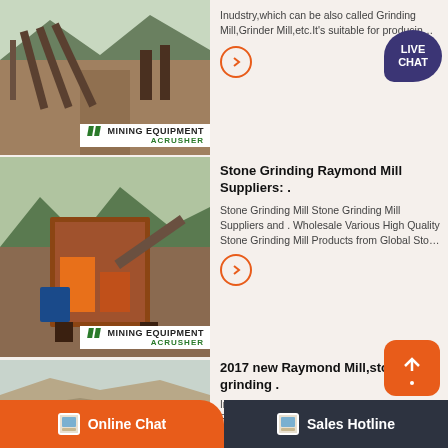[Figure (photo): Mining equipment site with conveyor belts, branded MINING EQUIPMENT / ACRUSHER]
Inudstry,which can be also called Grinding Mill,Grinder Mill,etc.It's suitable for producin…
[Figure (illustration): Live Chat speech bubble icon, dark purple]
[Figure (photo): Mining equipment crushing plant with orange machinery, branded MINING EQUIPMENT / ACRUSHER]
Stone Grinding Raymond Mill Suppliers: .
Stone Grinding Mill Stone Grinding Mill Suppliers and . Wholesale Various High Quality Stone Grinding Mill Products from Global Sto…
[Figure (photo): Open pit mining quarry site with machinery, branded MINING EQUIPMENT / ACRUSHER]
2017 new Raymond Mill,stone grinding .
Introduction of 2017 new Raymond Mill: the Raymond Mill is a traditional mill type, which is to grind non-flammable and non-explosive…
Online Chat
Sales Hotline